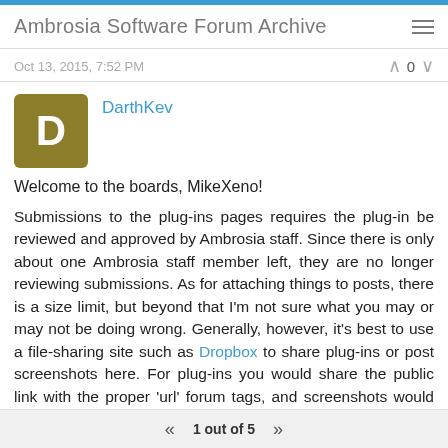Ambrosia Software Forum Archive
Oct 13, 2015, 7:52 PM
DarthKev
Welcome to the boards, MikeXeno!
Submissions to the plug-ins pages requires the plug-in be reviewed and approved by Ambrosia staff. Since there is only about one Ambrosia staff member left, they are no longer reviewing submissions. As for attaching things to posts, there is a size limit, but beyond that I'm not sure what you may or may not be doing wrong. Generally, however, it's best to use a file-sharing site such as Dropbox to share plug-ins or post screenshots here. For plug-ins you would share the public link with the proper 'url' forum tags, and screenshots would be the same but with the 'img' tags.
1 out of 5